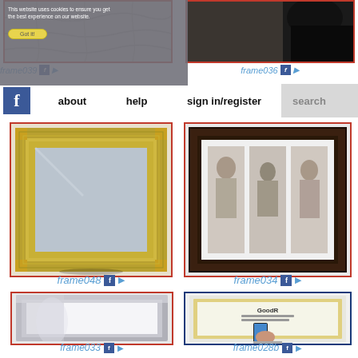[Figure (screenshot): Cookie consent banner overlay on website]
[Figure (photo): Partial photo frame - frame039, top left]
[Figure (photo): Partial photo frame - frame036, top right]
[Figure (screenshot): Website navigation bar with Facebook icon, about, help, sign in/register, search links]
[Figure (photo): Gold/brass photo frame - frame048]
frame048
[Figure (photo): Dark wooden multi-photo frame with black and white photos - frame034]
frame034
[Figure (photo): Silver/chrome square photo frame - frame033]
frame033
[Figure (photo): Transparent acrylic frame displaying GoodR app/phone content - frame028b]
frame028b